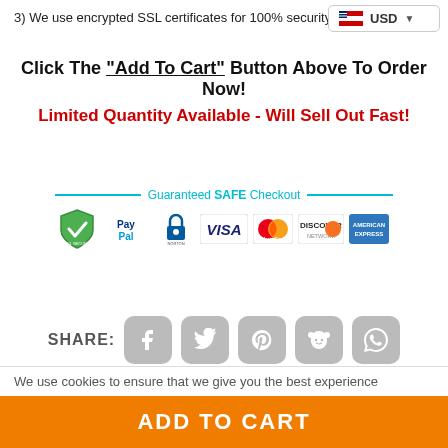3) We use encrypted SSL certificates for 100% security.
[Figure (infographic): USD currency selector box with US flag icon and dropdown arrow]
Click The "Add To Cart" Button Above To Order Now!
Limited Quantity Available - Will Sell Out Fast!
[Figure (infographic): Guaranteed SAFE Checkout banner with payment logos: green checkmark SSL, PayPal, Norton lock, Visa, MasterCard, Discover, American Express]
[Figure (infographic): SHARE row with social media icon buttons: Facebook, Twitter, Pinterest, Reddit, WhatsApp]
We use cookies to ensure that we give you the best experience
ADD TO CART